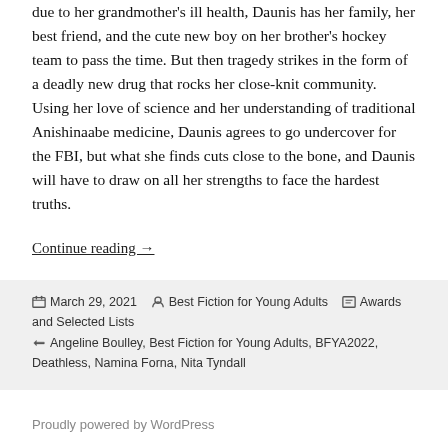due to her grandmother's ill health, Daunis has her family, her best friend, and the cute new boy on her brother's hockey team to pass the time. But then tragedy strikes in the form of a deadly new drug that rocks her close-knit community. Using her love of science and her understanding of traditional Anishinaabe medicine, Daunis agrees to go undercover for the FBI, but what she finds cuts close to the bone, and Daunis will have to draw on all her strengths to face the hardest truths.
Continue reading →
Posted on March 29, 2021 | Author Best Fiction for Young Adults | Categories Awards and Selected Lists | Tags Angeline Boulley, Best Fiction for Young Adults, BFYA2022, Deathless, Namina Forna, Nita Tyndall
Proudly powered by WordPress